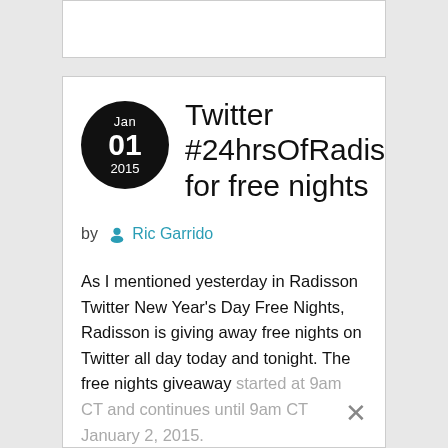Twitter #24hrsOfRadissonSweeps for free nights
by Ric Garrido
As I mentioned yesterday in Radisson Twitter New Year's Day Free Nights, Radisson is giving away free nights on Twitter all day today and tonight. The free nights giveaway started at 9am CT and continues until 9am CT January 2, 2015.